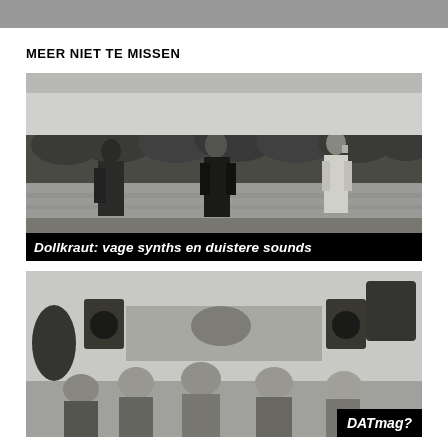MEER NIET TE MISSEN
[Figure (photo): Black and white photo of three people (a band) standing by a lake with trees in the background at dusk. Caption overlay: 'Dollkraut: vage synths en duistere sounds']
[Figure (photo): Black and white photo of a group of people (approximately 5) posing in a recording studio with speakers and equipment visible. Branding overlay in bottom right: 'DATmag?']